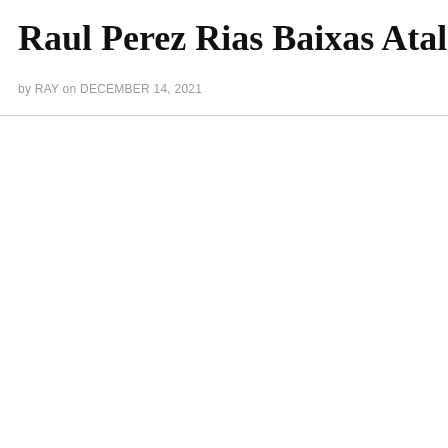Raul Perez Rias Baixas Atalier a cruz das
by RAY on DECEMBER 14, 2021